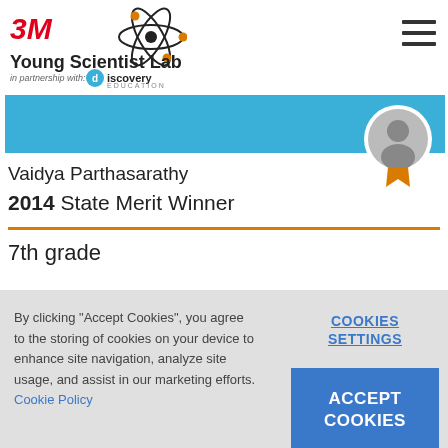3M Young Scientist Lab in partnership with Discovery Education
Vaidya Parthasarathy
2014 State Merit Winner
7th grade
By clicking "Accept Cookies", you agree to the storing of cookies on your device to enhance site navigation, analyze site usage, and assist in our marketing efforts. Cookie Policy
COOKIES SETTINGS
ACCEPT COOKIES